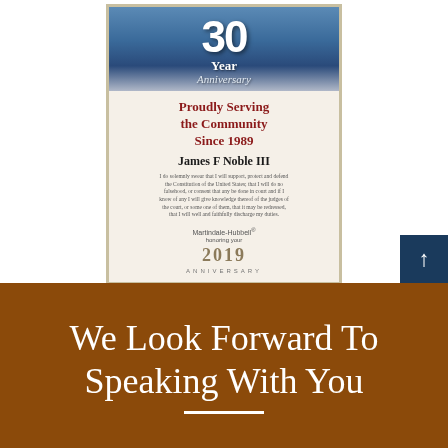[Figure (illustration): 30 Year Anniversary certificate for James F Noble III, Martindale-Hubbell 2019 Anniversary plaque showing 'Proudly Serving the Community Since 1989']
We Look Forward To Speaking With You